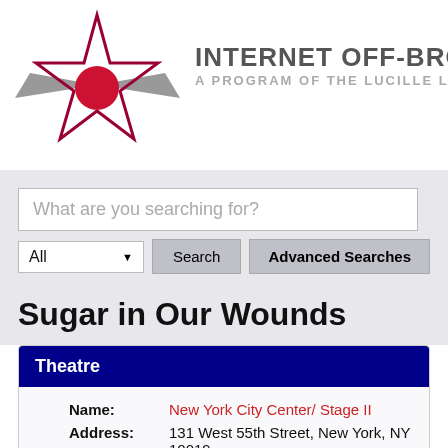[Figure (logo): Internet Off-Broadway Database logo: a star with a red circle and gray wings, with text 'INTERNET OFF-BROADWAY' and 'A PROGRAM OF THE LUCILLE LO']
What are you searching for?
All
Search
Advanced Searches
Sugar in Our Wounds
Theatre
Name: New York City Center/ Stage II
Address: 131 West 55th Street, New York, NY 10019